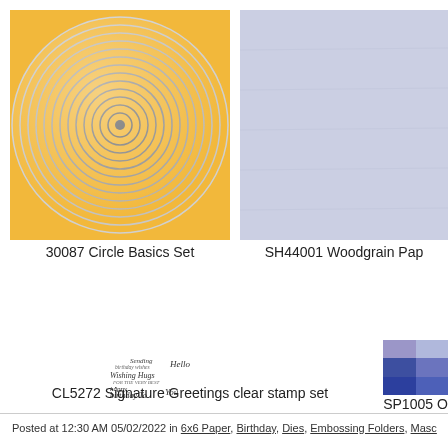[Figure (photo): 30087 Circle Basics Set - concentric circles die on yellow background]
30087 Circle Basics Set
[Figure (photo): SH44001 Woodgrain Paper - light blue/grey paper swatch]
SH44001 Woodgrain Pap...
[Figure (photo): CL5272 Signature Greetings clear stamp set - cursive handwriting stamps]
CL5272 Signature Greetings clear stamp set
[Figure (photo): SP1005 O... - color swatches grid in blue/purple tones]
SP1005 O...
Posted at 12:30 AM 05/02/2022 in 6x6 Paper, Birthday, Dies, Embossing Folders, Masc...